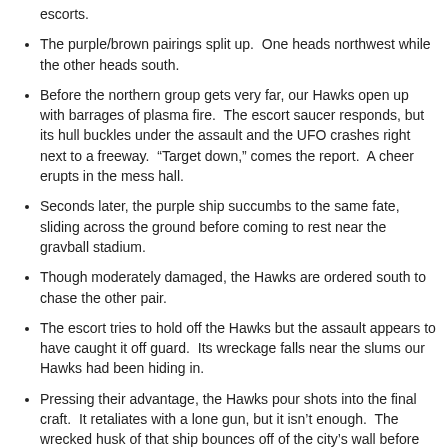escorts.
The purple/brown pairings split up.  One heads northwest while the other heads south.
Before the northern group gets very far, our Hawks open up with barrages of plasma fire.  The escort saucer responds, but its hull buckles under the assault and the UFO crashes right next to a freeway.  “Target down,” comes the report.  A cheer erupts in the mess hall.
Seconds later, the purple ship succumbs to the same fate, sliding across the ground before coming to rest near the gravball stadium.
Though moderately damaged, the Hawks are ordered south to chase the other pair.
The escort tries to hold off the Hawks but the assault appears to have caught it off guard.  Its wreckage falls near the slums our Hawks had been hiding in.
Pressing their advantage, the Hawks pour shots into the final craft.  It retaliates with a lone gun, but it isn’t enough.  The wrecked husk of that ship bounces off of the city’s wall before landing near its smoldering escort.
Back at base, the team is ecstatic.  Until now, we had yet to shoot down a single alien ship, much less stop them from completing